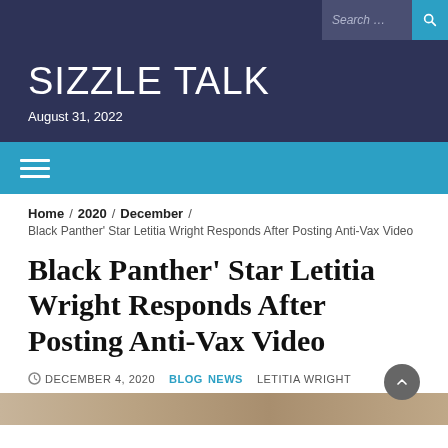SIZZLE TALK — August 31, 2022
Black Panther' Star Letitia Wright Responds After Posting Anti-Vax Video
Home / 2020 / December / Black Panther' Star Letitia Wright Responds After Posting Anti-Vax Video
DECEMBER 4, 2020  BLOG  NEWS  LETITIA WRIGHT
[Figure (photo): Bottom image strip showing partial photo, warm tan/brown tones]